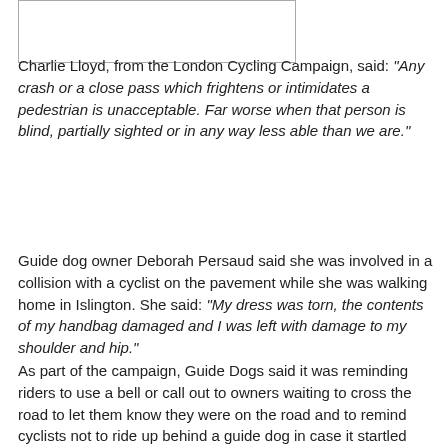[Figure (photo): Image placeholder, partially visible at top of page]
Charlie Lloyd, from the London Cycling Campaign, said: "Any crash or a close pass which frightens or intimidates a pedestrian is unacceptable. Far worse when that person is blind, partially sighted or in any way less able than we are."
Guide dog owner Deborah Persaud said she was involved in a collision with a cyclist on the pavement while she was walking home in Islington. She said: "My dress was torn, the contents of my handbag damaged and I was left with damage to my shoulder and hip."
As part of the campaign, Guide Dogs said it was reminding riders to use a bell or call out to owners waiting to cross the road to let them know they were on the road and to remind cyclists not to ride up behind a guide dog in case it startled them.